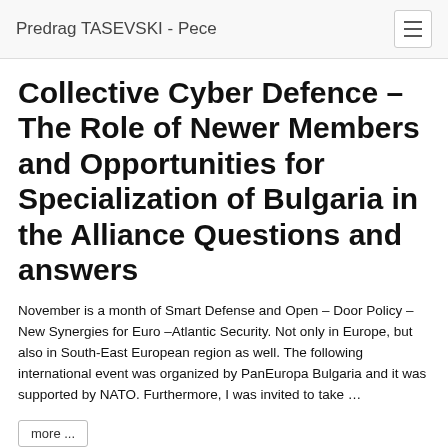Predrag TASEVSKI - Pece
Collective Cyber Defence – The Role of Newer Members and Opportunities for Specialization of Bulgaria in the Alliance Questions and answers
November is a month of Smart Defense and Open – Door Policy – New Synergies for Euro –Atlantic Security. Not only in Europe, but also in South-East European region as well. The following international event was organized by PanEuropa Bulgaria and it was supported by NATO. Furthermore, I was invited to take …
more ...